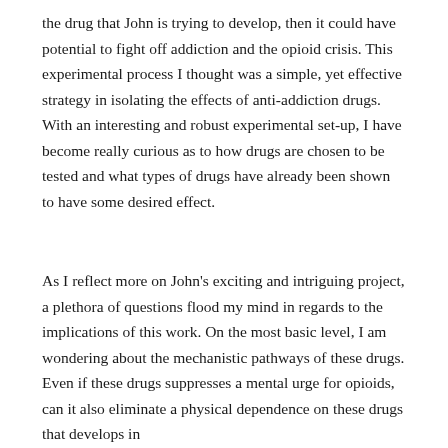the drug that John is trying to develop, then it could have potential to fight off addiction and the opioid crisis. This experimental process I thought was a simple, yet effective strategy in isolating the effects of anti-addiction drugs. With an interesting and robust experimental set-up, I have become really curious as to how drugs are chosen to be tested and what types of drugs have already been shown to have some desired effect.
As I reflect more on John's exciting and intriguing project, a plethora of questions flood my mind in regards to the implications of this work. On the most basic level, I am wondering about the mechanistic pathways of these drugs. Even if these drugs suppresses a mental urge for opioids, can it also eliminate a physical dependence on these drugs that develops in